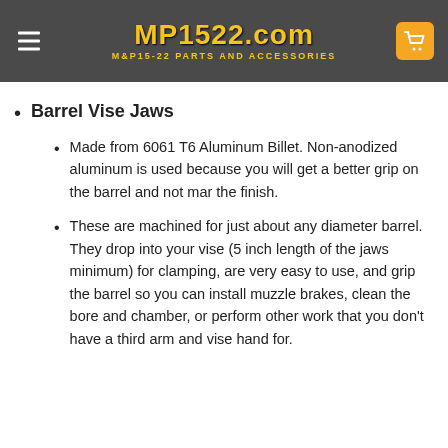[Figure (screenshot): MP1522.com website header with logo, hamburger menu, and cart button on dark gray background]
Barrel Vise Jaws
Made from 6061 T6 Aluminum Billet. Non-anodized aluminum is used because you will get a better grip on the barrel and not mar the finish.
These are machined for just about any diameter barrel. They drop into your vise (5 inch length of the jaws minimum) for clamping, are very easy to use, and grip the barrel so you can install muzzle brakes, clean the bore and chamber, or perform other work that you don't have a third arm and vise hand for.